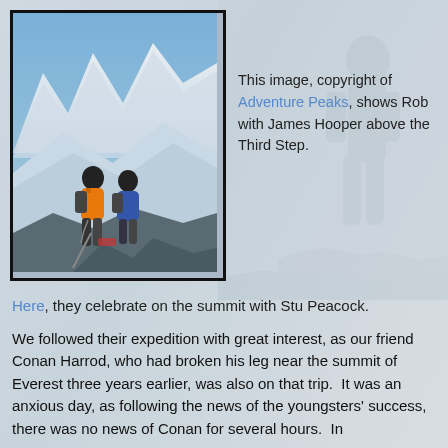[Figure (photo): Photograph of two mountaineers in heavy gear climbing a steep snowy ridge with dramatic mountain peaks behind them. The climber in front wears an orange jacket. Framed with a dark border.]
This image, copyright of Adventure Peaks, shows Rob with James Hooper above the Third Step.
Here, they celebrate on the summit with Stu Peacock.
We followed their expedition with great interest, as our friend Conan Harrod, who had broken his leg near the summit of Everest three years earlier, was also on that trip.  It was an anxious day, as following the news of the youngsters' success, there was no news of Conan for several hours.  In